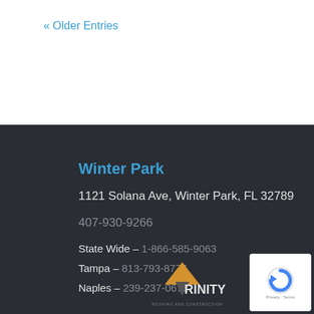« Older Entries
Winter Park
1121 Solana Ave, Winter Park, FL 32789
407-930-9266
State Wide – 1-866-585-9063
Tampa – 813-793-8776
Naples – 239-237-0672
[Figure (logo): Trinity Roofing and Construction logo]
[Figure (logo): Master Shingle Applicator CertainTeed badge]
[Figure (logo): reCAPTCHA widget with Privacy and Terms text]